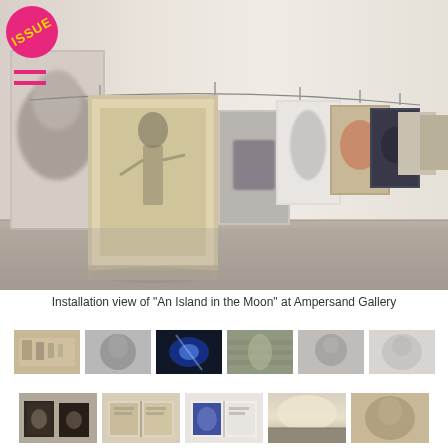[Figure (photo): ISSUE magazine logo badge - pink circle with yellow 'ISSUE' text]
[Figure (infographic): Hamburger menu icon with two pink horizontal lines]
[Figure (photo): Installation view of art gallery showing photographs hung on a wire along a white wall, images receding into the distance with various portrait and figure studies on aged paper and photographic prints]
Installation view of "An Island in the Moon" at Ampersand Gallery
[Figure (photo): Row of 6 thumbnail images from the gallery exhibition including installation views, portraits, and artwork details]
[Figure (photo): Row of 5 smaller thumbnail images showing books and landscape photographs from the exhibition]